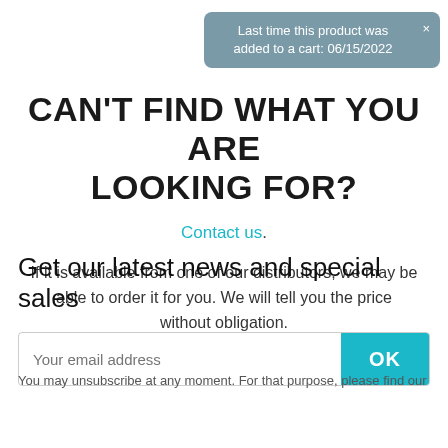Last time this product was added to a cart: 06/15/2022
CAN'T FIND WHAT YOU ARE LOOKING FOR?
Contact us.
If it is available from one of our distributors, we may be able to order it for you. We will tell you the price without obligation.
Get our latest news and special sales
Your email address
OK
You may unsubscribe at any moment. For that purpose, please find our